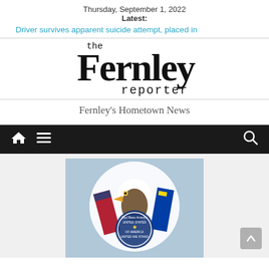Thursday, September 1, 2022
Latest:
Driver survives apparent suicide attempt, placed in
[Figure (logo): The Fernley Reporter newspaper logo with stylized bold Fernley text and courier-style 'the' and 'reporter' text]
Fernley's Hometown News
[Figure (photo): Navigation bar with home icon, hamburger menu icon on the left and search icon on the right, dark background]
[Figure (photo): Circular image featuring a bald eagle with American flag and Nevada state flag, with United States seal reading 'God Bless America, United States of America, United We Stand']